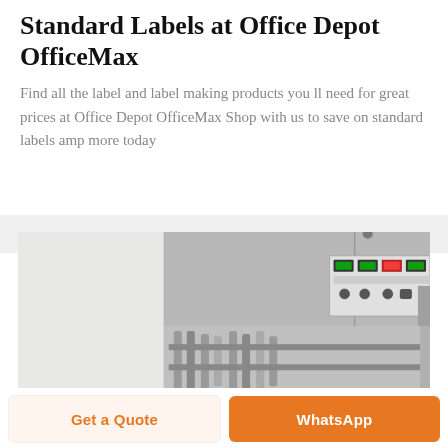Standard Labels at Office Depot OfficeMax
Find all the label and label making products you ll need for great prices at Office Depot OfficeMax Shop with us to save on standard labels amp more today
[Figure (photo): Industrial label making machine with control panel showing digital displays and buttons, silver/grey colored machinery with mechanical components visible below the control panel]
Get a Quote
WhatsApp